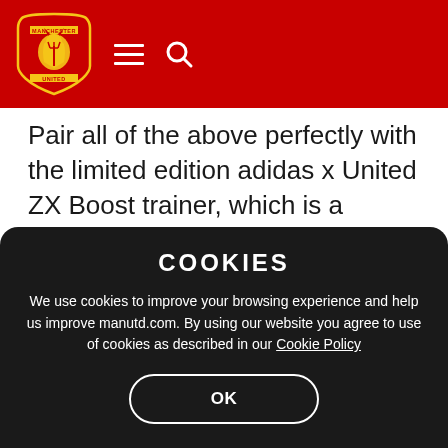Manchester United navigation bar with crest, hamburger menu, and search icon
Pair all of the above perfectly with the limited edition adidas x United ZX Boost trainer, which is a combination of great comfort and unrivalled style. United branding appears throughout, and the colour palette references this season's striking third kit.
COOKIES
We use cookies to improve your browsing experience and help us improve manutd.com. By using our website you agree to use of cookies as described in our Cookie Policy
OK